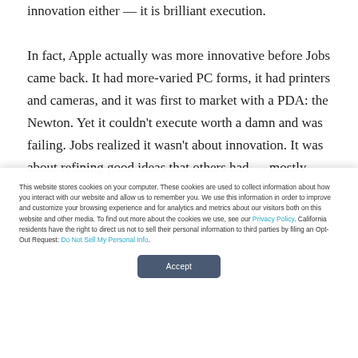innovation either — it is brilliant execution.
In fact, Apple actually was more innovative before Jobs came back. It had more-varied PC forms, it had printers and cameras, and it was first to market with a PDA: the Newton. Yet it couldn't execute worth a damn and was failing. Jobs realized it wasn't about innovation. It was about refining good ideas that others had — mostly simplifying them so they'd be
This website stores cookies on your computer. These cookies are used to collect information about how you interact with our website and allow us to remember you. We use this information in order to improve and customize your browsing experience and for analytics and metrics about our visitors both on this website and other media. To find out more about the cookies we use, see our Privacy Policy. California residents have the right to direct us not to sell their personal information to third parties by filing an Opt-Out Request: Do Not Sell My Personal Info.